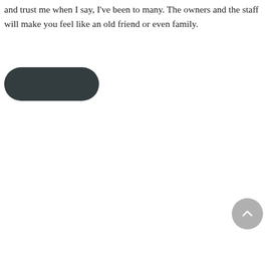and trust me when I say, I've been to many. The owners and the staff will make you feel like an old friend or even family.
[Figure (other): A dark rounded pill-shaped button (dark charcoal color) with no visible text label]
[Figure (other): A grey circular back-to-top button with an upward-pointing chevron arrow]